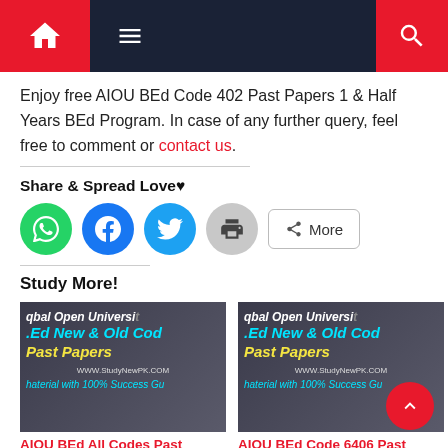[Figure (screenshot): Website navigation bar with home icon (red background), hamburger menu icon (dark background), and search icon (red background)]
Enjoy free AIOU BEd Code 402 Past Papers 1 & Half Years BEd Program. In case of any further query, feel free to comment or contact us.
Share & Spread Love♥
[Figure (screenshot): Share buttons: WhatsApp (green circle), Facebook (blue circle), Twitter (blue circle), Print (grey circle), More button]
Study More!
[Figure (screenshot): Card image: Allama Iqbal Open University BEd New & Old Codes Past Papers - Material with 100% Success Guarantee]
AIOU BEd All Codes Past Papers of all AIOU BEd Papers
[Figure (screenshot): Card image: Allama Iqbal Open University BEd New & Old Codes Past Papers - Material with 100% Success Guarantee]
AIOU BEd Code 6406 Past Papers